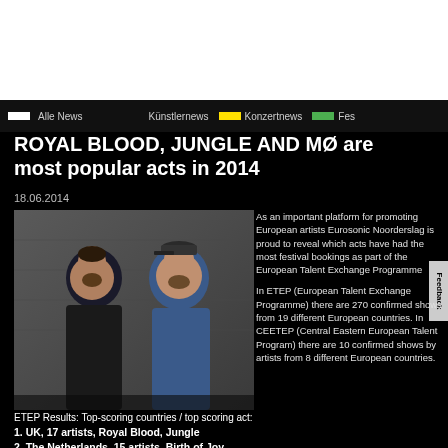Alle News | Künstlernews | Konzertnews | Fes
ROYAL BLOOD, JUNGLE AND MØ are most popular acts in 2014
18.06.2014
[Figure (photo): Two male musicians standing against a concrete wall, one wearing a cap]
As an important platform for promoting European artists Eurosonic Noorderslag is proud to reveal which acts have had the most festival bookings as part of the European Talent Exchange Programme (ETEP).

In ETEP (European Talent Exchange Programme) there are 270 confirmed shows from 19 different European countries. In CEETEP (Central Eastern European Talent Program) there are 10 confirmed shows by artists from 8 different European countries.
ETEP Results: Top-scoring countries / top scoring act:
1. UK, 17 artists, Royal Blood, Jungle
2. The Netherlands, 15 artists, Birth of Joy
3. Ireland, 7 artists, Hozier